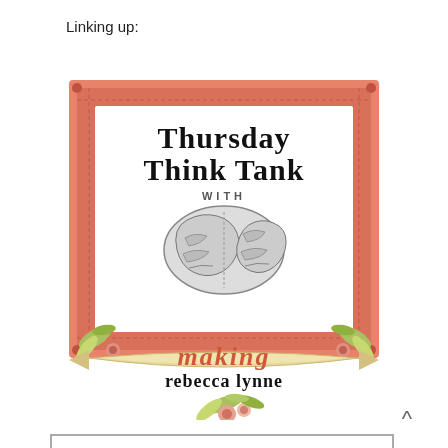Linking up:
[Figure (logo): Thursday Think Tank with Making Rebecca Lynne logo — a coral/salmon decorative picture frame containing the text 'Thursday Think Tank' in bold serif at top, 'WITH' in small caps, a vintage engraving of a human brain in the center, flanked by floral/leaf decorations, a ribbon banner at bottom reading 'making' in italic coral letters and 'rebecca lynne' in bold black gothic letters, with floral decorations below.]